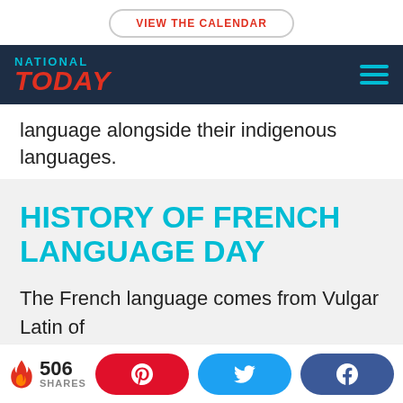VIEW THE CALENDAR
NATIONAL TODAY
language alongside their indigenous languages.
HISTORY OF FRENCH LANGUAGE DAY
The French language comes from Vulgar Latin of the Roman Empire. France was known as Gaul
506 SHARES